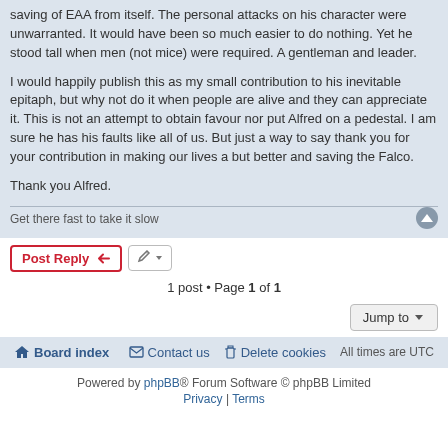saving of EAA from itself. The personal attacks on his character were unwarranted. It would have been so much easier to do nothing. Yet he stood tall when men (not mice) were required. A gentleman and leader.
I would happily publish this as my small contribution to his inevitable epitaph, but why not do it when people are alive and they can appreciate it. This is not an attempt to obtain favour nor put Alfred on a pedestal. I am sure he has his faults like all of us. But just a way to say thank you for your contribution in making our lives a but better and saving the Falco.
Thank you Alfred.
Get there fast to take it slow
Post Reply
1 post • Page 1 of 1
Jump to
Board index   Contact us   Delete cookies   All times are UTC
Powered by phpBB® Forum Software © phpBB Limited   Privacy | Terms